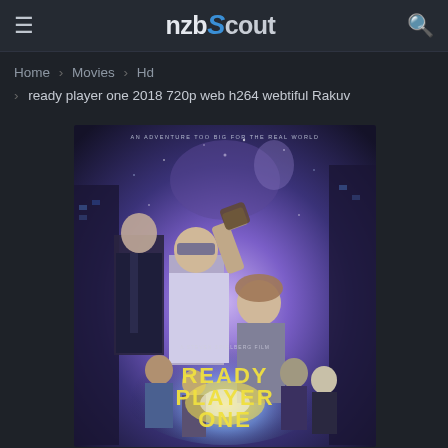nzbScout
Home > Movies > Hd > ready player one 2018 720p web h264 webtiful Rakuv
[Figure (photo): Movie poster for Ready Player One (2018) showing main characters against a sci-fi background with glowing blue and purple lighting. Text at top reads AN ADVENTURE TOO BIG FOR THE REAL WORLD and at bottom READY PLAYER ONE with A STEVEN SPIELBERG FILM credit.]